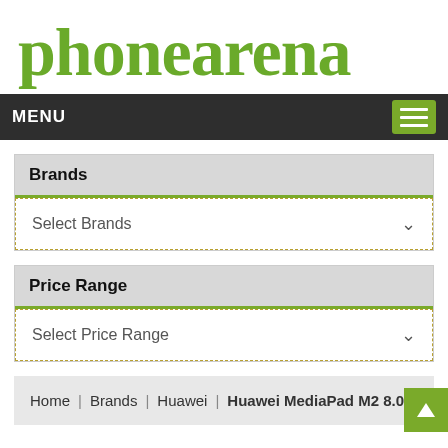phonearena
MENU
Brands
Select Brands
Price Range
Select Price Range
Home | Brands | Huawei | Huawei MediaPad M2 8.0